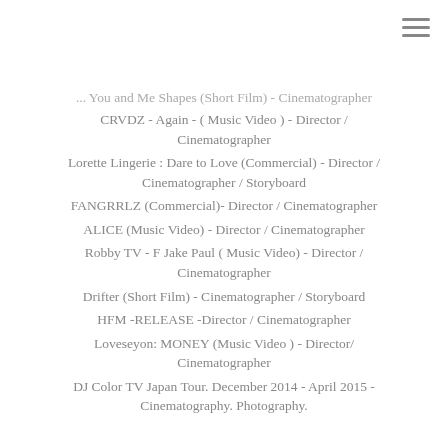... (Short Film) - Cinematographer
CRVDZ - Again - ( Music Video ) - Director / Cinematographer
Lorette Lingerie : Dare to Love (Commercial) - Director / Cinematographer / Storyboard
FANGRRLZ (Commercial)- Director / Cinematographer
ALICE  (Music Video) - Director / Cinematographer
Robby TV - F Jake Paul ( Music Video)  - Director / Cinematographer
Drifter (Short Film)  - Cinematographer / Storyboard
HFM -RELEASE -Director / Cinematographer
Loveseyon: MONEY (Music Video ) - Director/ Cinematographer
DJ Color TV Japan Tour. December 2014 - April 2015 - Cinematography. Photography.